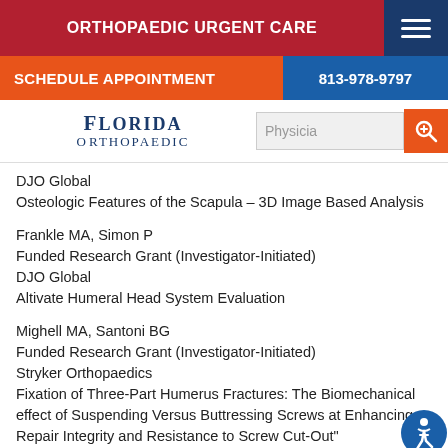ORTHOPAEDIC URGENT CARE
SCHEDULE APPOINTMENT  |  813-978-9797
[Figure (logo): Florida Orthopaedic Institute logo with search bar showing 'Physicia']
DJO Global
Osteologic Features of the Scapula – 3D Image Based Analysis
Frankle MA, Simon P
Funded Research Grant (Investigator-Initiated)
DJO Global
Altivate Humeral Head System Evaluation
Mighell MA, Santoni BG
Funded Research Grant (Investigator-Initiated)
Stryker Orthopaedics
Fixation of Three-Part Humerus Fractures: The Biomechanical effect of Suspending Versus Buttressing Screws at Enhancing Repair Integrity and Resistance to Screw Cut-Out"